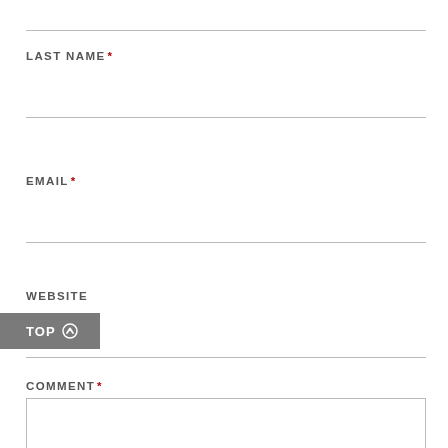LAST NAME *
EMAIL *
WEBSITE
TOP ↑
COMMENT *